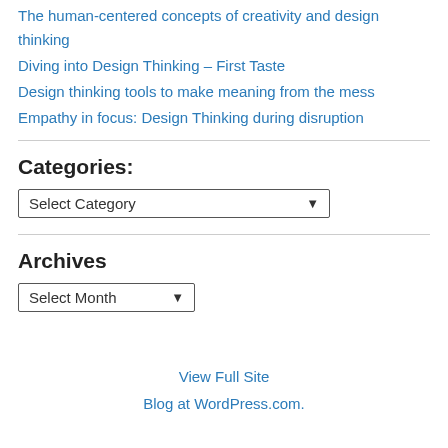The human-centered concepts of creativity and design thinking
Diving into Design Thinking – First Taste
Design thinking tools to make meaning from the mess
Empathy in focus: Design Thinking during disruption
Categories:
Select Category
Archives
Select Month
View Full Site
Blog at WordPress.com.